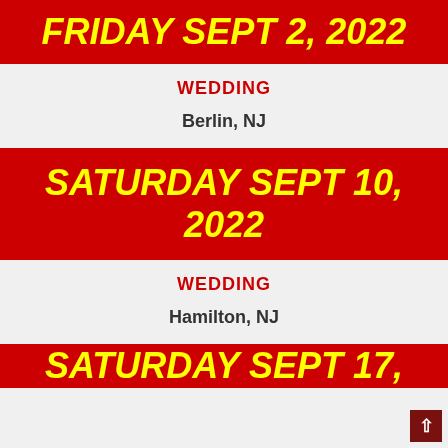FRIDAY SEPT 2, 2022
WEDDING
Berlin, NJ
SATURDAY SEPT 10, 2022
WEDDING
Hamilton, NJ
SATURDAY SEPT 17, 2022